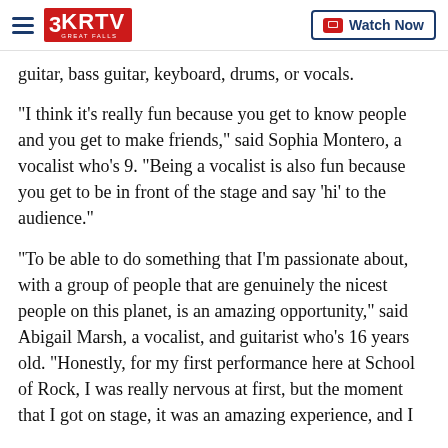3KRTV Great Falls | Watch Now
guitar, bass guitar, keyboard, drums, or vocals.
"I think it's really fun because you get to know people and you get to make friends," said Sophia Montero, a vocalist who's 9. "Being a vocalist is also fun because you get to be in front of the stage and say 'hi' to the audience."
"To be able to do something that I'm passionate about, with a group of people that are genuinely the nicest people on this planet, is an amazing opportunity," said Abigail Marsh, a vocalist, and guitarist who's 16 years old. "Honestly, for my first performance here at School of Rock, I was really nervous at first, but the moment that I got on stage, it was an amazing experience, and I